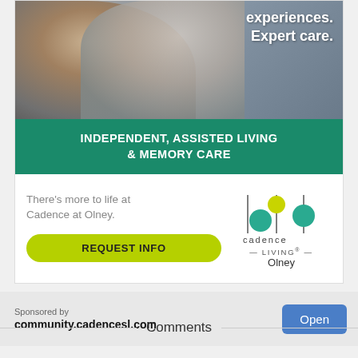[Figure (photo): Two people embracing — an older couple, one with dark skin wearing a grey top, one with white hair smiling. Overlay text reads 'experiences. Expert care.']
INDEPENDENT, ASSISTED LIVING & MEMORY CARE
There's more to life at Cadence at Olney.
REQUEST INFO
[Figure (logo): Cadence Living logo with colored circles and vertical lines, text: cadence LIVING® Olney]
Sponsored by community.cadencesl.com
Comments